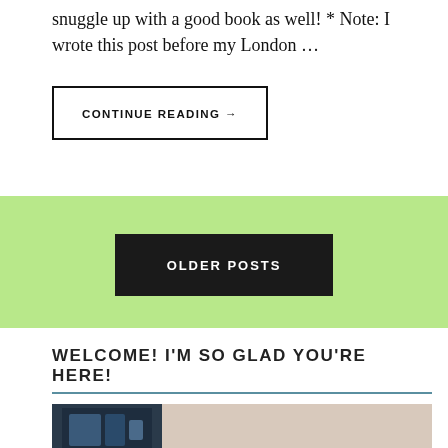snuggle up with a good book as well! * Note: I wrote this post before my London …
CONTINUE READING →
OLDER POSTS
WELCOME! I'M SO GLAD YOU'RE HERE!
[Figure (photo): Photo strip at the bottom showing a partial image with dark background on left and light textured background on right]